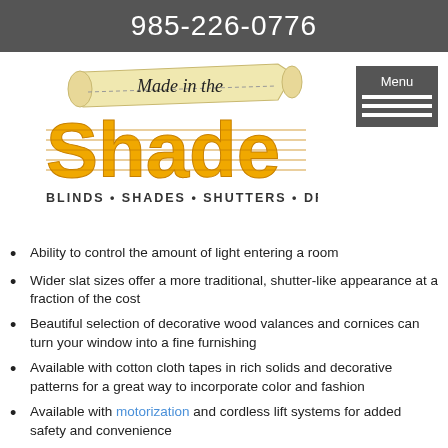985-226-0776
[Figure (logo): Made in the Shade logo - Blinds, Shades, Shutters, Draperies]
Ability to control the amount of light entering a room
Wider slat sizes offer a more traditional, shutter-like appearance at a fraction of the cost
Beautiful selection of decorative wood valances and cornices can turn your window into a fine furnishing
Available with cotton cloth tapes in rich solids and decorative patterns for a great way to incorporate color and fashion
Available with motorization and cordless lift systems for added safety and convenience